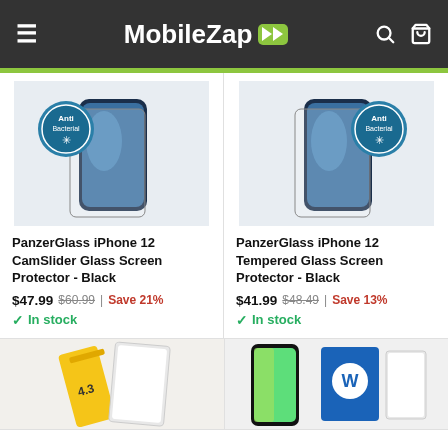MobileZap
[Figure (screenshot): Product image: PanzerGlass iPhone 12 CamSlider Glass Screen Protector - Black, with AntiBacterial badge]
PanzerGlass iPhone 12 CamSlider Glass Screen Protector - Black
$47.99  $60.99  | Save 21%
✓ In stock
[Figure (screenshot): Product image: PanzerGlass iPhone 12 Tempered Glass Screen Protector - Black, with AntiBacterial badge]
PanzerGlass iPhone 12 Tempered Glass Screen Protector - Black
$41.99  $48.49  | Save 13%
✓ In stock
[Figure (photo): Partially visible product - yellow accessory item]
[Figure (photo): Partially visible product - phone with blue packaging]
🇺🇸  Looks like you're in United States...
SHOP THERE
DISMISS